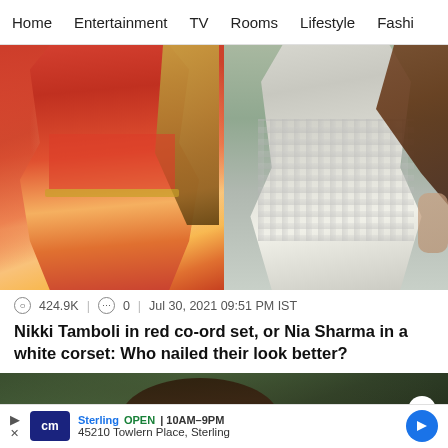Home   Entertainment   TV   Rooms   Lifestyle   Fashi
[Figure (photo): Two side-by-side celebrity photos: left shows a woman in a red co-ord set, right shows a woman in a white corset outfit]
424.9K | 0 | Jul 30, 2021 09:51 PM IST
Nikki Tamboli in red co-ord set, or Nia Sharma in a white corset: Who nailed their look better?
[Figure (photo): Bottom photo partially visible, appears to show a person; advertisement overlay with Sterling business info and navigation arrow]
Sterling   OPEN | 10AM–9PM
45210 Towlern Place, Sterling